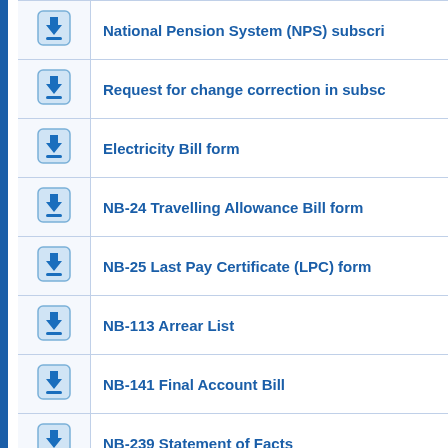National Pension System (NPS) subscri...
Request for change correction in subsc...
Electricity Bill form
NB-24 Travelling Allowance Bill form
NB-25 Last Pay Certificate (LPC) form
NB-113 Arrear List
NB-141 Final Account Bill
NB-239 Statement of Facts
Self Load calculation form
NB-140 Running Account Bill
NPS (Hindi text)
NB-263 F2 Agreement form
NB-24- Travelling Allowance Bill form
medical reimbursement form